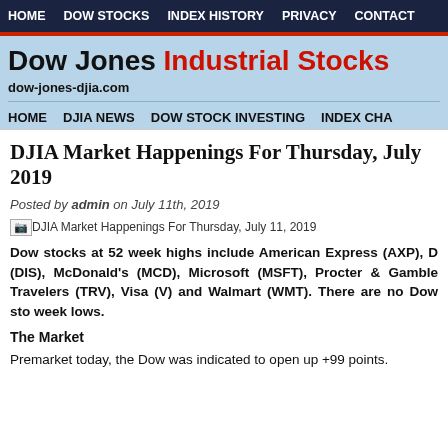HOME   DOW STOCKS   INDEX HISTORY   PRIVACY   CONTACT
Dow Jones Industrial Stocks
dow-jones-djia.com
HOME   DJIA NEWS   DOW STOCK INVESTING   INDEX CHA
DJIA Market Happenings For Thursday, July 2019
Posted by admin on July 11th, 2019
[Figure (photo): DJIA Market Happenings For Thursday, July 11, 2019]
Dow stocks at 52 week highs include American Express (AXP), D (DIS), McDonald's (MCD), Microsoft (MSFT), Procter & Gamble Travelers (TRV), Visa (V) and Walmart (WMT). There are no Dow sto week lows.
The Market
Premarket today, the Dow was indicated to open up +99 points.